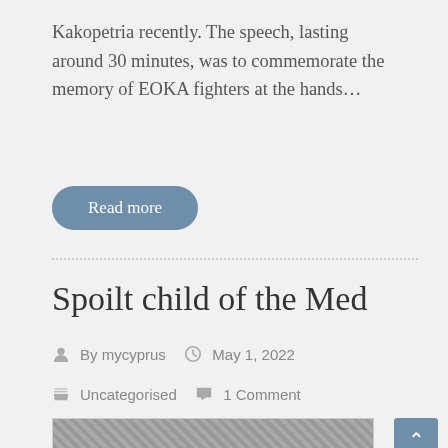Kakopetria recently. The speech, lasting around 30 minutes, was to commemorate the memory of EOKA fighters at the hands...
Read more
Spoilt child of the Med
By mycyprus   May 1, 2022
Uncategorised   1 Comment
[Figure (photo): Black and white photo showing chain-link fence or wire mesh structure with figures behind it]